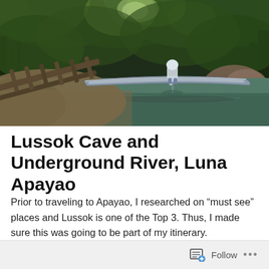[Figure (photo): A river scene with dense tropical jungle canopy overhead. A long narrow wooden boat/banca is moored at a sandy riverbank. A person stands on the boat. Another wooden boat or raft frame is visible on the left foreground. The water is calm and greenish-clear, reflecting the surrounding trees.]
Lussok Cave and Underground River, Luna Apayao
Prior to traveling to Apayao, I researched on “must see” places and Lussok is one of the Top 3. Thus, I made sure this was going to be part of my itinerary.
Follow ...